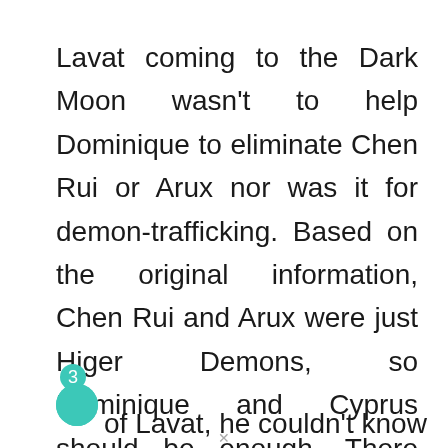Lavat coming to the Dark Moon wasn't to help Dominique to eliminate Chen Rui or Arux nor was it for demon-trafficking. Based on the original information, Chen Rui and Arux were just Higer Demons, so Dominique and Cyprus should be enough. There was no need for Lavat to come in person. The real purpose of the deputy general of the Double-headed Dragon to come here was to take away something from the Mellon Family. Yet, even Cyprus was a close friend of Lavat, he couldn't know what the exact